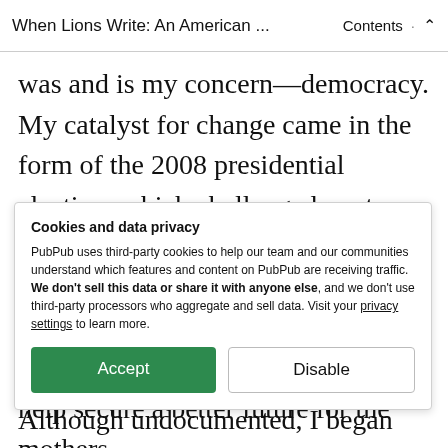When Lions Write: An American … · Contents ︿
was and is my concern—democracy. My catalyst for change came in the form of the 2008 presidential election, which challenged me to explore my responsibility to the country that has shaped my ideas of justice, opportunity, and civic participation. I felt compelled to help secure a better future for the mothers
Cookies and data privacy
PubPub uses third-party cookies to help our team and our communities understand which features and content on PubPub are receiving traffic. We don't sell this data or share it with anyone else, and we don't use third-party processors who aggregate and sell data. Visit your privacy settings to learn more.
[Accept] [Disable]
Although undocumented, I began my work